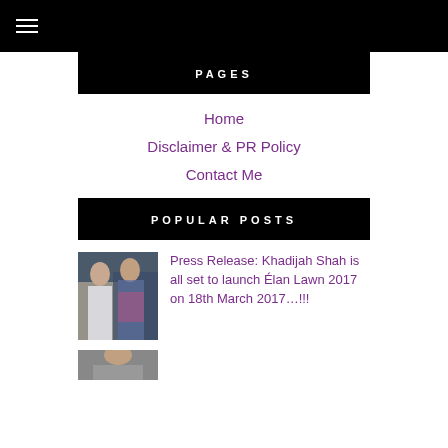≡ (hamburger menu)
PAGES
Home
Disclaimer & PR Policy
Contact Me
POPULAR POSTS
[Figure (photo): Two women in colorful traditional Pakistani lawn dress]
Press Release: Khadijah Shah is all set to launch Élan Lawn 2017 on 18th March 2017…!!!